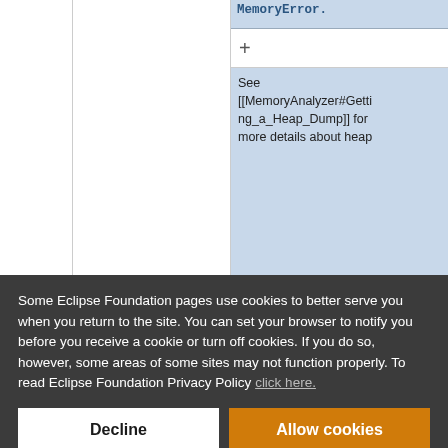[Figure (screenshot): Partial screenshot of a wiki-style page showing a table cell with 'MemoryError.' text in blue monospace, a '+' symbol row, and a cell with wiki link text 'See [[MemoryAnalyzer#Getting_a_Heap_Dump]] for more details about heap...']
Some Eclipse Foundation pages use cookies to better serve you when you return to the site. You can set your browser to notify you before you receive a cookie or turn off cookies. If you do so, however, some areas of some sites may not function properly. To read Eclipse Foundation Privacy Policy click here.
Decline
Allow cookies
== Getting a stack trace  == Getting a stack trace